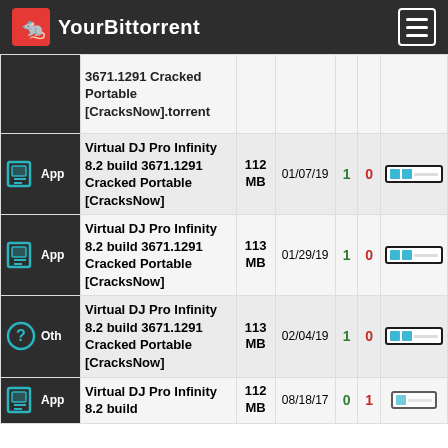YourBittorrent
| Category | Name | Size | Date | S | L | DL |
| --- | --- | --- | --- | --- | --- | --- |
|  | 3671.1291 Cracked Portable [CracksNow].torrent |  |  |  |  |  |
| App | Virtual DJ Pro Infinity 8.2 build 3671.1291 Cracked Portable [CracksNow] | 112 MB | 01/07/19 | 1 | 0 |  |
| App | Virtual DJ Pro Infinity 8.2 build 3671.1291 Cracked Portable [CracksNow] | 113 MB | 01/29/19 | 1 | 0 |  |
| Oth | Virtual DJ Pro Infinity 8.2 build 3671.1291 Cracked Portable [CracksNow] | 113 MB | 02/04/19 | 1 | 0 |  |
| App | Virtual DJ Pro Infinity 8.2 build | 112 MB | 08/18/17 | 0 | 1 |  |